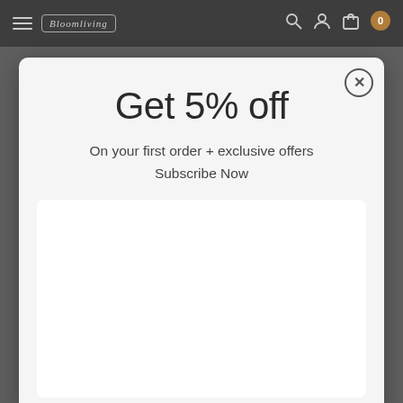[Figure (screenshot): Navigation bar with hamburger menu, logo in rectangular border, and icons including search, account, and cart with orange badge showing 0]
Get 5% off
On your first order + exclusive offers
Subscribe Now
[Figure (other): White empty form/subscription input area inside modal popup]